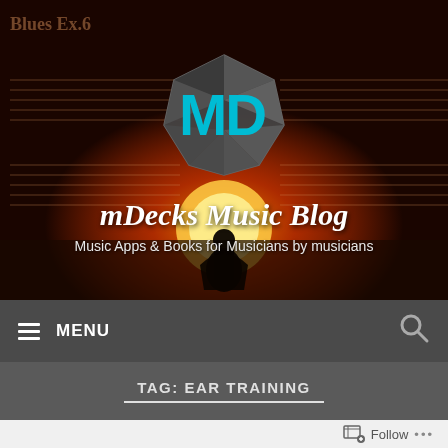[Figure (illustration): mDecks Music Blog header banner with dark reddish-brown background, sheet music overlay, silhouette of person against sunset, MD logo circle with cyan letters, blog title and subtitle]
mDecks Music Blog
Music Apps & Books for Musicians by musicians
MENU
TAG: EAR TRAINING
Follow ...